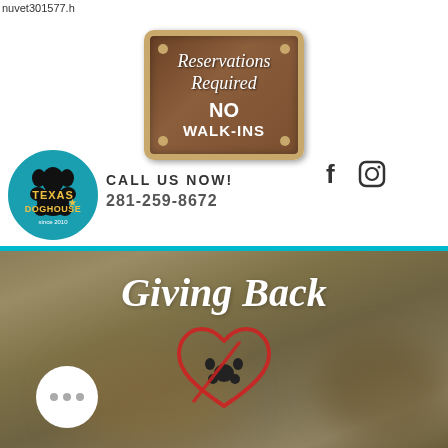nuvet301577.h
[Figure (photo): Wooden sign reading 'Reservations Required NO WALK-INS' with brass corner screws on a wood plank background]
[Figure (logo): Texas Doghouse logo - circular teal badge with black paw print and gold text]
CALL US NOW!
281-259-8672
[Figure (other): Facebook and Instagram social media icons]
[Figure (other): Dark circular hamburger menu button]
[Figure (illustration): Giving Back section with italic white title text and red heart with black paw print graphic on a blurred brownish-green background. White circle button with three dots at bottom left.]